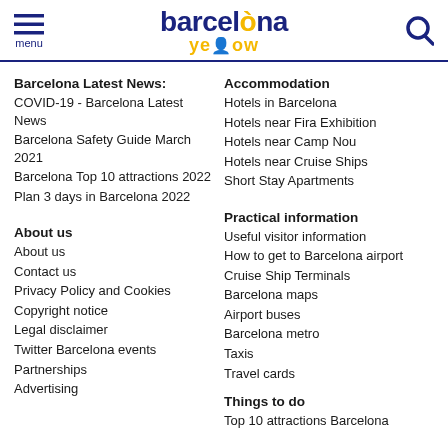barcelona yellow — menu and search
Barcelona Latest News:
COVID-19 - Barcelona Latest News
Barcelona Safety Guide March 2021
Barcelona Top 10 attractions 2022
Plan 3 days in Barcelona 2022
About us
About us
Contact us
Privacy Policy and Cookies
Copyright notice
Legal disclaimer
Twitter Barcelona events
Partnerships
Advertising
Accommodation
Hotels in Barcelona
Hotels near Fira Exhibition
Hotels near Camp Nou
Hotels near Cruise Ships
Short Stay Apartments
Practical information
Useful visitor information
How to get to Barcelona airport
Cruise Ship Terminals
Barcelona maps
Airport buses
Barcelona metro
Taxis
Travel cards
Things to do
Top 10 attractions Barcelona